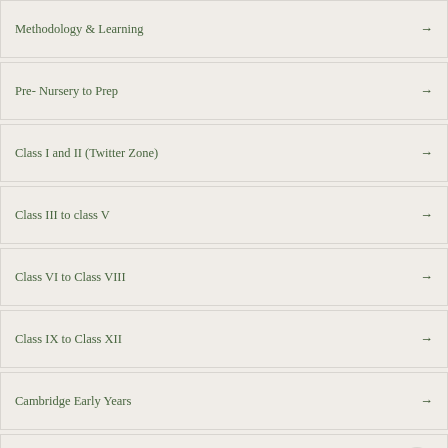Methodology & Learning →
Pre- Nursery to Prep →
Class I and II (Twitter Zone) →
Class III to class V →
Class VI to Class VIII →
Class IX to Class XII →
Cambridge Early Years →
E-Learning →
Foreign Languages →
Academic Achievements →